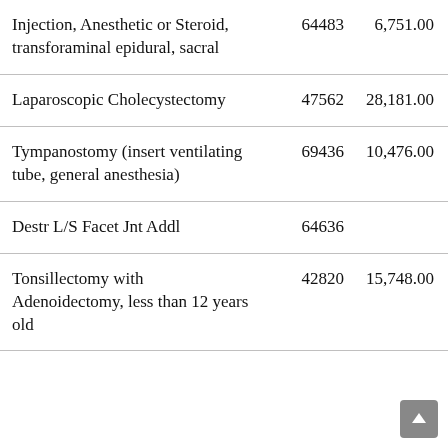| Injection, Anesthetic or Steroid, transforaminal epidural, sacral | 64483 | 6,751.00 |
| Laparoscopic Cholecystectomy | 47562 | 28,181.00 |
| Tympanostomy (insert ventilating tube, general anesthesia) | 69436 | 10,476.00 |
| Destr L/S Facet Jnt Addl | 64636 |  |
| Tonsillectomy with Adenoidectomy, less than 12 years old | 42820 | 15,748.00 |